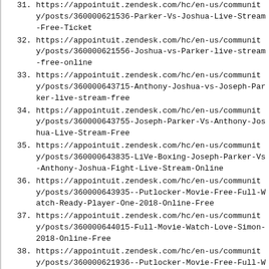31. https://appointuit.zendesk.com/hc/en-us/community/posts/360000621536-Parker-Vs-Joshua-Live-Stream-Free-Ticket
32. https://appointuit.zendesk.com/hc/en-us/community/posts/360000621556-Joshua-vs-Parker-live-stream-free-online
33. https://appointuit.zendesk.com/hc/en-us/community/posts/360000643715-Anthony-Joshua-vs-Joseph-Parker-live-stream-free
34. https://appointuit.zendesk.com/hc/en-us/community/posts/360000643755-Joseph-Parker-Vs-Anthony-Joshua-Live-Stream-Free
35. https://appointuit.zendesk.com/hc/en-us/community/posts/360000643835-LiVe-Boxing-Joseph-Parker-Vs-Anthony-Joshua-Fight-Live-Stream-Online
36. https://appointuit.zendesk.com/hc/en-us/community/posts/360000643935--Putlocker-Movie-Free-Full-Watch-Ready-Player-One-2018-Online-Free
37. https://appointuit.zendesk.com/hc/en-us/community/posts/360000644015-Full-Movie-Watch-Love-Simon-2018-Online-Free
38. https://appointuit.zendesk.com/hc/en-us/community/posts/360000621936--Putlocker-Movie-Free-Full-Watch-Black-Panther-2018-Online-Free
39. https://www.builtinnyc.com/event/fullmoviewat...